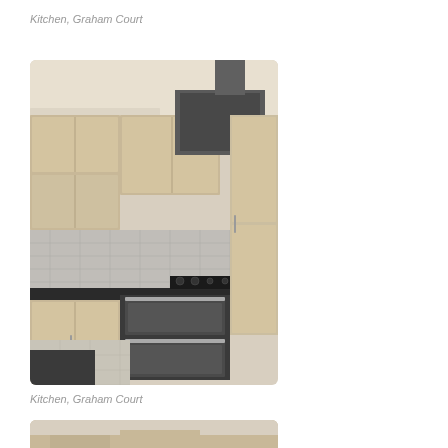Kitchen, Graham Court
[Figure (photo): Interior photograph of a kitchen at Graham Court showing light wood cabinets, dark granite countertops, a gas hob, double oven, and tiled floor and backsplash]
Kitchen, Graham Court
[Figure (photo): Partial view of another photo of a room at Graham Court, showing top portion only]